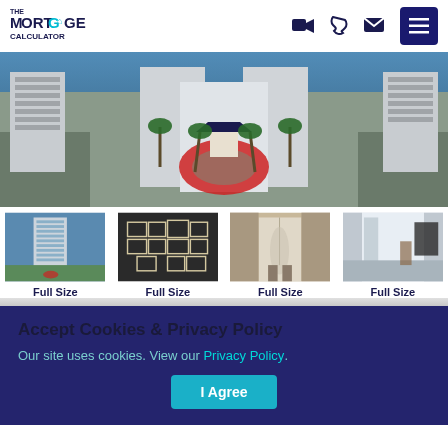[Figure (logo): The Mortgage Calculator logo with teal accent]
[Figure (photo): Aerial view of a beachfront hotel/condominium complex with red circular driveway and palm trees]
[Figure (photo): Four thumbnail property photos: exterior high-rise, floor plan layout, interior lobby, interior hallway]
Full Size
Full Size
Full Size
Full Size
Accept Cookies & Privacy Policy
Our site uses cookies. View our Privacy Policy.
I Agree